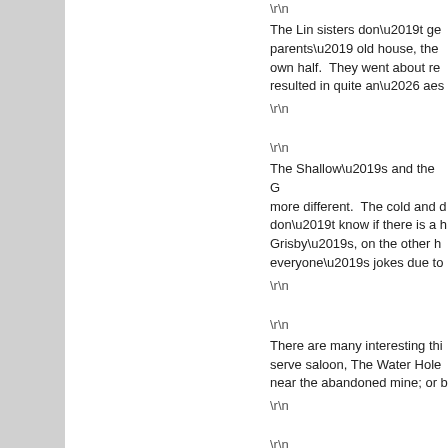\r\n The Lin sisters don\u2019t ge... parents\u2019 old house, the... own half. They went about re... resulted in quite an\u2026 aes... \r\n
\r\n The Shallow\u2019s and the G... more different. The cold and d... don\u2019t know if there is a ... Grisby\u2019s, on the other h... everyone\u2019s jokes due to... \r\n
\r\n There are many interesting thi... serve saloon, The Water Hole... near the abandoned mine; or l... \r\n
\r\n You can also visit the local Fis...